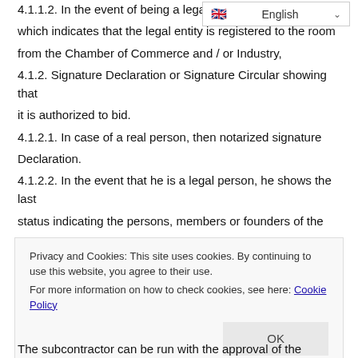announcement of tender date,
4.1.1.2. In the event of being a legal person, a document which indicates that the legal entity is registered to the room from the Chamber of Commerce and / or Industry,
4.1.2. Signature Declaration or Signature Circular showing that it is authorized to bid.
4.1.2.1. In case of a real person, then notarized signature Declaration.
4.1.2.2. In the event that he is a legal person, he shows the last status indicating the persons, members or founders of the legal entity and the officials in charge of the legal entity in accordance with his interest. If the Trade Registry Gazette does not have all of this information in a Trade Registry Gazette, the relevant Trade Registry Gazettes showing them
Privacy and Cookies: This site uses cookies. By continuing to use this website, you agree to their use.
For more information on how to check cookies, see here: Cookie Policy
The subcontractor can be run with the approval of the